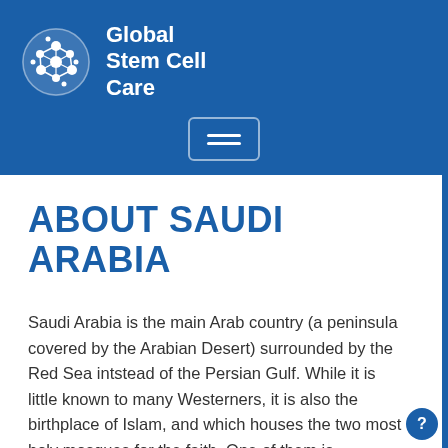Global Stem Cell Care
ABOUT SAUDI ARABIA
Saudi Arabia is the main Arab country (a peninsula covered by the Arabian Desert) surrounded by the Red Sea intstead of the Persian Gulf. While it is little known to many Westerners, it is also the birthplace of Islam, and which houses the two most holy mosques for the faith. One of them is